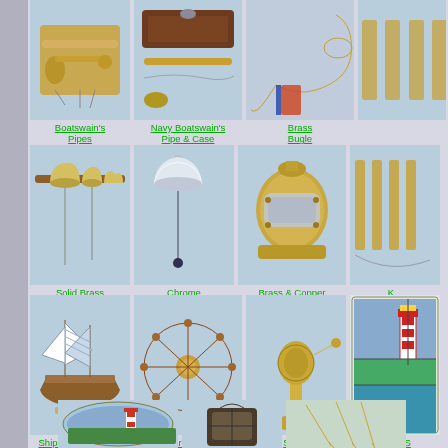[Figure (photo): Boatswain's Pipes - brass/copper nautical pipes]
Boatswain's Pipes
[Figure (photo): Navy Boatswain's Pipe & Case - pipe with wooden case and chain]
Navy Boatswain's Pipe & Case
[Figure (photo): Brass Bugle - coiled brass bugle with rope]
Brass Bugle
[Figure (photo): Solid Brass Ship's Bells - multiple bells on wooden mount]
Solid Brass Ship's Bells
[Figure (photo): Chrome Ship's Bells - chrome bell hanging]
Chrome Ship's Bells
[Figure (photo): Brass & Copper Diver's Helmet - vintage diving helmet]
Brass & Copper Diver's Helmet
[Figure (photo): Keychain items (partial)]
[Figure (photo): Ships Model Refrig. Magnets & Ornaments - model sailing ship]
Ships Model Refrig. Magnets & Ornaments
[Figure (photo): Hardwood Ship's Wheels - wooden ship wheel]
Hardwood Ship's Wheels
[Figure (photo): Ship's Telegraphs - brass telegraph instrument]
Ship's Telegraphs
[Figure (photo): Hand stained glass (partial) - lighthouse stained glass panel]
Hand Stai...
[Figure (photo): Lighthouse suncatcher ornament (partial bottom)]
[Figure (photo): Nautical lantern (partial bottom)]
[Figure (photo): Brass implements/tools (partial bottom)]